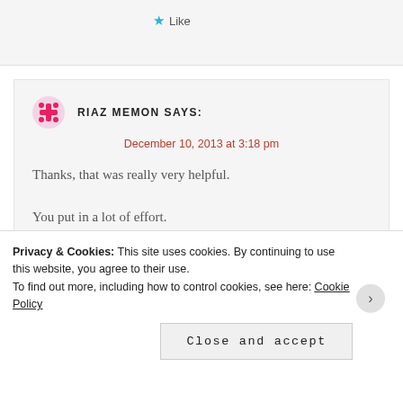★ Like
RIAZ MEMON SAYS:
December 10, 2013 at 3:18 pm
Thanks, that was really very helpful.
You put in a lot of effort.
★ Like
Privacy & Cookies: This site uses cookies. By continuing to use this website, you agree to their use.
To find out more, including how to control cookies, see here: Cookie Policy
Close and accept